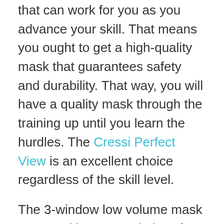that can work for you as you advance your skill. That means you ought to get a high-quality mask that guarantees safety and durability. That way, you will have a quality mask through the training up until you learn the hurdles. The Cressi Perfect View is an excellent choice regardless of the skill level.
The 3-window low volume mask comes with tempered glass for the lens. This material has shown resistance to high water pressure to ensure you are safe when using it. Also, the tempered glass is easy to clean ensuring you have the best view underwater.
One feature should feature to consider the...